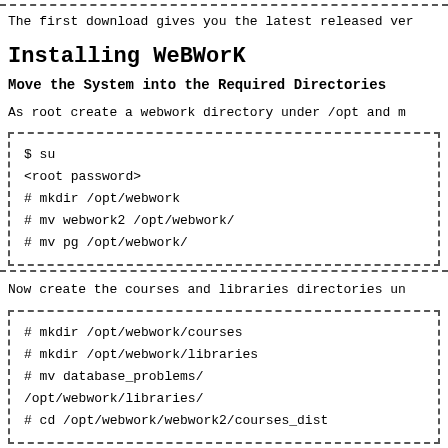The first download gives you the latest released ver
Installing WeBWorK
Move the System into the Required Directories
As root create a webwork directory under /opt and m
[Figure (other): Code block: $ su
<root password>
# mkdir /opt/webwork
# mv webwork2 /opt/webwork/
# mv pg /opt/webwork/]
Now create the courses and libraries directories un
[Figure (other): Code block: # mkdir /opt/webwork/courses
# mkdir /opt/webwork/libraries
# mv database_problems/
/opt/webwork/libraries/
# cd /opt/webwork/webwork2/courses_dist]